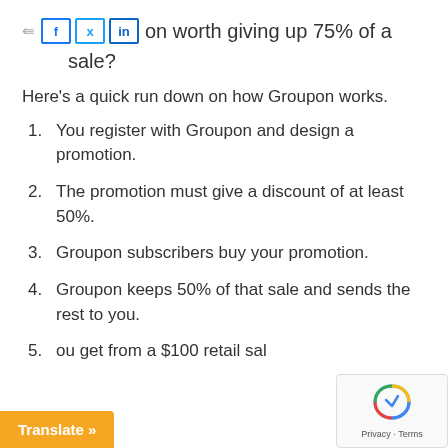Is a Groupon worth giving up 75% of a sale?
Here's a quick run down on how Groupon works.
1. You register with Groupon and design a promotion.
2. The promotion must give a discount of at least 50%.
3. Groupon subscribers buy your promotion.
4. Groupon keeps 50% of that sale and sends the rest to you.
5. [partial] ...ou get from a $100 retail sa...